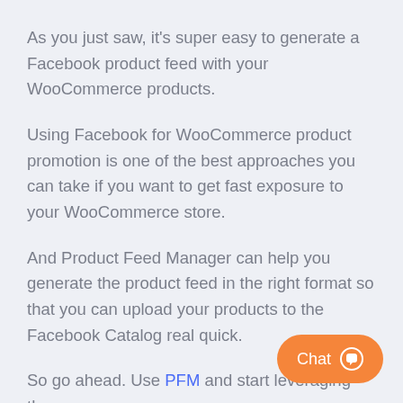As you just saw, it's super easy to generate a Facebook product feed with your WooCommerce products.
Using Facebook for WooCommerce product promotion is one of the best approaches you can take if you want to get fast exposure to your WooCommerce store.
And Product Feed Manager can help you generate the product feed in the right format so that you can upload your products to the Facebook Catalog real quick.
So go ahead. Use PFM and start leveraging the